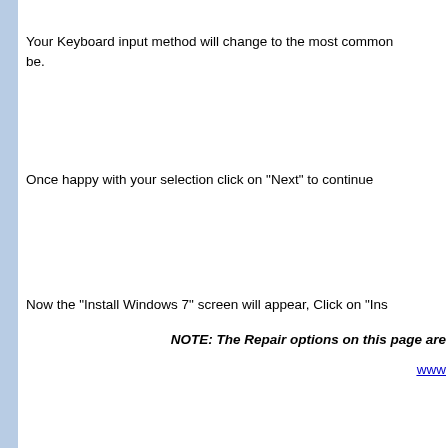Your Keyboard input method will change to the most common be.
Once happy with your selection click on "Next" to continue
Now the "Install Windows 7" screen will appear, Click on "Ins
NOTE: The Repair options on this page are www